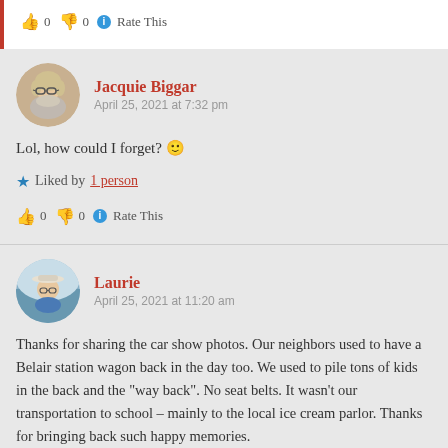👍 0 👎 0 ℹ Rate This
Jacquie Biggar
April 25, 2021 at 7:32 pm
Lol, how could I forget? 🙂
★ Liked by 1 person
👍 0 👎 0 ℹ Rate This
Laurie
April 25, 2021 at 11:20 am
Thanks for sharing the car show photos. Our neighbors used to have a Belair station wagon back in the day too. We used to pile tons of kids in the back and the "way back". No seat belts. It wasn't our transportation to school – mainly to the local ice cream parlor. Thanks for bringing back such happy memories.